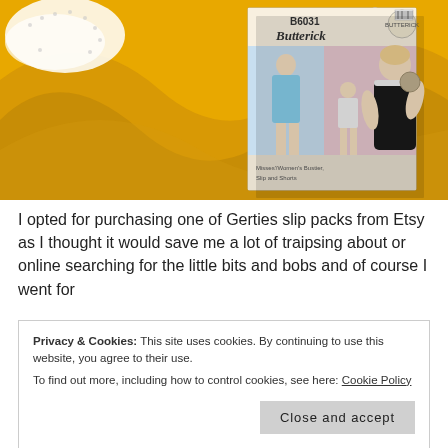[Figure (photo): Photo of yellow/golden fabric with a Butterick B6031 sewing pattern envelope on top, showing vintage-style women's undergarments/swimwear. White lace and accessories visible in upper left corner.]
I opted for purchasing one of Gerties slip packs from Etsy as I thought it would save me a lot of traipsing about or online searching for the little bits and bobs and of course I went for
Privacy & Cookies: This site uses cookies. By continuing to use this website, you agree to their use.
To find out more, including how to control cookies, see here: Cookie Policy
Close and accept
The main material is micro jersey fabric (poly/spandex blend)